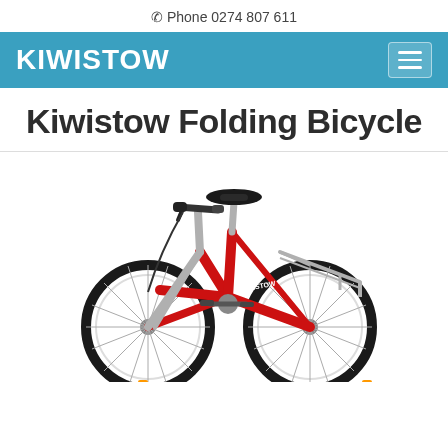Phone 0274 807 611
KIWISTOW
Kiwistow Folding Bicycle
[Figure (photo): A red folding bicycle with silver fork, black seat, rear cargo rack, and small wheels photographed against a white background.]